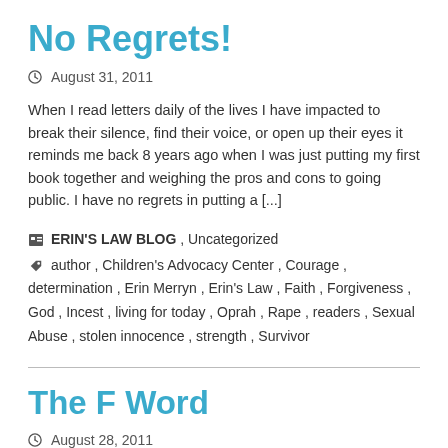No Regrets!
August 31, 2011
When I read letters daily of the lives I have impacted to break their silence, find their voice, or open up their eyes it reminds me back 8 years ago when I was just putting my first book together and weighing the pros and cons to going public. I have no regrets in putting a [...]
ERIN'S LAW BLOG , Uncategorized
author , Children's Advocacy Center , Courage , determination , Erin Merryn , Erin's Law , Faith , Forgiveness , God , Incest , living for today , Oprah , Rape , readers , Sexual Abuse , stolen innocence , strength , Survivor
The F Word
August 28, 2011